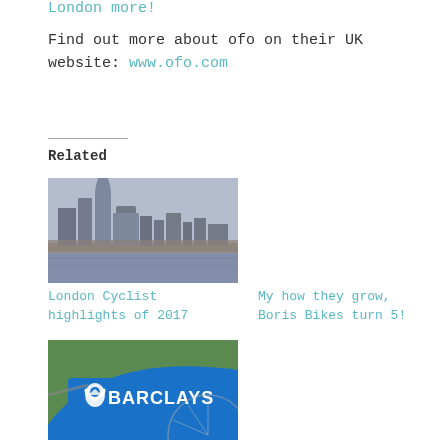London more!
Find out more about ofo on their UK website: www.ofo.com
Related
[Figure (photo): London city skyline viewed from across the Thames river, showing tall modern buildings and overcast sky]
London Cyclist highlights of 2017
My how they grow, Boris Bikes turn 5!
[Figure (photo): Close-up of a blue Barclays Boris Bike showing the Barclays logo and wheel]